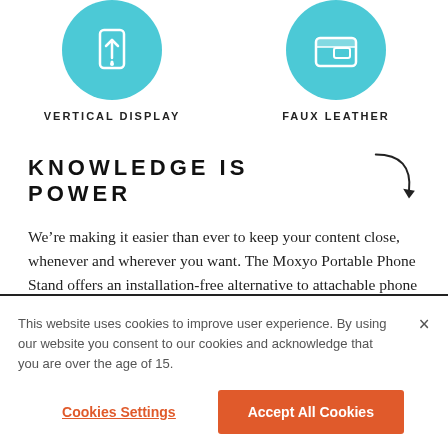[Figure (illustration): Teal/cyan circular icon with white vertical display icon (phone with arrow pointing up)]
VERTICAL DISPLAY
[Figure (illustration): Teal/cyan circular icon with white faux leather icon (wallet/case)]
FAUX LEATHER
KNOWLEDGE IS POWER
We’re making it easier than ever to keep your content close, whenever and wherever you want. The Moxyo Portable Phone Stand offers an installation-free alternative to attachable phone stands, all while enabling you to stream videos, learn new recipes,
This website uses cookies to improve user experience. By using our website you consent to our cookies and acknowledge that you are over the age of 15.
Cookies Settings
Accept All Cookies